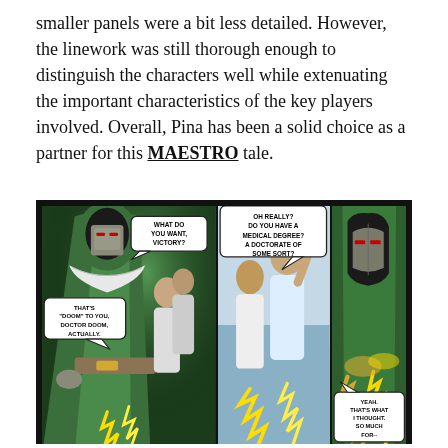smaller panels were a bit less detailed. However, the linework was still thorough enough to distinguish the characters well while extenuating the important characteristics of the key players involved. Overall, Pina has been a solid choice as a partner for this MAESTRO tale.
[Figure (illustration): Comic book panel spread showing Doctor Doom (in green hood and cloak with metal mask) on the left, two men confronting each other in the middle panel with energy effects, and a close-up of Doom on the right with glowing golden energy. Speech bubbles read: 'WHAT DO YOU WANT, VICTORY?', 'THAT'S "DOOM" TO YOU. DOCTOR DOOM, ACTUALLY.', 'OH REALLY? DO YOU HAVE A MEDICAL DEGREE? A DOCTORATE OF SOME SORT?', 'YEAH. THAT'S WHAT I THOUGHT. SO MUCH FOR--']